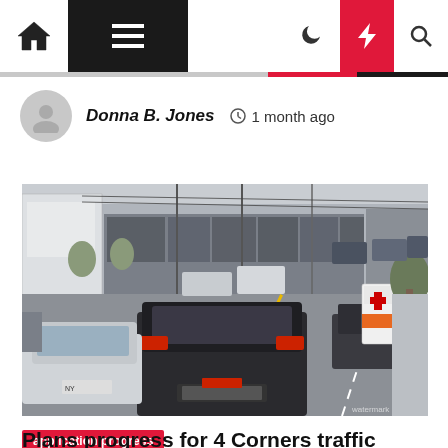Navigation bar with home, menu, dark mode, lightning, and search icons
Donna B. Jones   1 month ago
[Figure (photo): Street-level photo showing traffic congestion on a commercial road with cars lined up, storefronts visible in the background, and an ambulance in the right lane.]
application progress
Plans progress for 4 Corners traffic